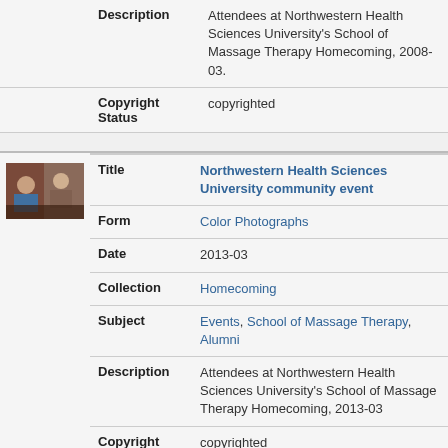| Field | Value |
| --- | --- |
| Description | Attendees at Northwestern Health Sciences University's School of Massage Therapy Homecoming, 2008-03. |
| Copyright Status | copyrighted |
| Title | Northwestern Health Sciences University community event |
| Form | Color Photographs |
| Date | 2013-03 |
| Collection | Homecoming |
| Subject | Events, School of Massage Therapy, Alumni |
| Description | Attendees at Northwestern Health Sciences University's School of Massage Therapy Homecoming, 2013-03 |
| Copyright Status | copyrighted |
[Figure (photo): Thumbnail photo of attendees at Northwestern Health Sciences University community event 2013]
[Figure (photo): Thumbnail photo at bottom of page, partially visible]